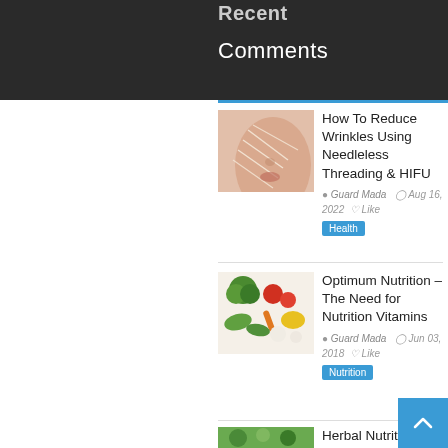Recent
Comments
[Figure (photo): Close-up of a woman's face showing needleless threading lines on skin]
How To Reduce Wrinkles Using Needleless Threading & HIFU
Guard Mada  Aug 16, 2022  Like
Health
[Figure (photo): Colorful assortment of fresh vegetables and fruits]
Optimum Nutrition – The Need for Nutrition Vitamins
Guard Mada  Jun 03, 2018  Like
Nutrition
[Figure (photo): Herbal nutrition supplements with greens]
Herbal Nutrition Supplement Anti